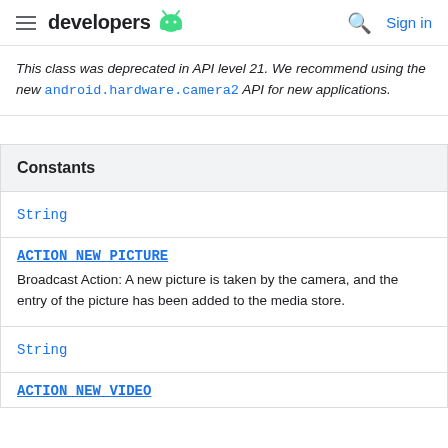developers [android logo] | Sign in
This class was deprecated in API level 21. We recommend using the new android.hardware.camera2 API for new applications.
| Constants |
| --- |
| String | ACTION_NEW_PICTURE | Broadcast Action: A new picture is taken by the camera, and the entry of the picture has been added to the media store. |
| String | ACTION_NEW_VIDEO |  |